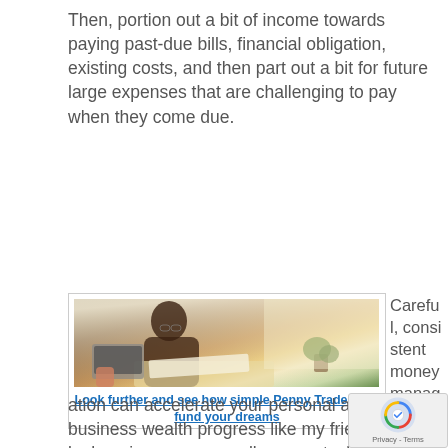Then, portion out a bit of income towards paying past-due bills, financial obligation, existing costs, and then part out a bit for future large expenses that are challenging to pay when they come due.
[Figure (photo): A person with glasses sitting at a desk writing in a notebook, with a laptop, coffee cup, and plants visible near a bright window.]
Look further and see how simple Penny Trades can fund your dreams
Careful, consistent money management and allocation can accelerate your personal and business wealth progress like my friend d... by keeping an eye on all penny stocks...